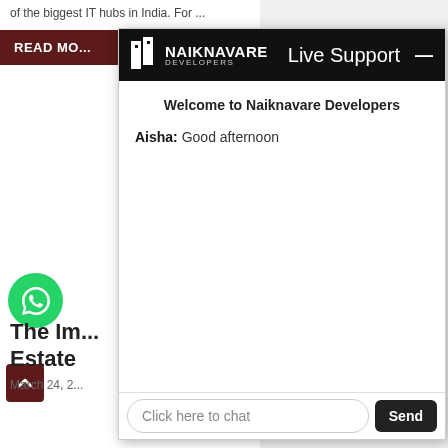of the biggest IT hubs in India. For ...
READ MO...
[Figure (screenshot): Naiknavare Developers Live Support chat widget overlay showing a welcome message and chat interface]
Welcome to Naiknavare Developers
Aisha: Good afternoon
Click here to chat
Send
The Im... Estate
March 24, 2...